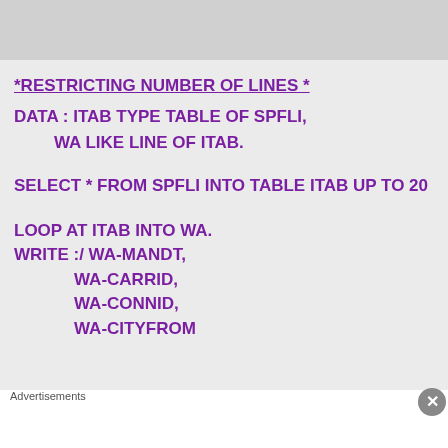*RESTRICTING NUMBER OF LINES *
DATA : ITAB TYPE TABLE OF SPFLI,
        WA LIKE LINE OF ITAB.
SELECT * FROM SPFLI INTO TABLE ITAB UP TO 20
LOOP AT ITAB INTO WA.
WRITE :/ WA-MANDT,
        WA-CARRID,
        WA-CONNID,
        WA-CITYFROM
Advertisements
[Figure (other): DuckDuckGo advertisement banner: orange background with text 'Search, browse, and email with more privacy. All in One Free App' and DuckDuckGo logo on dark background]